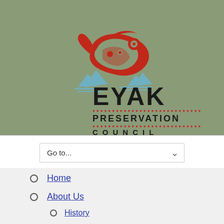[Figure (logo): Eyak Preservation Council logo with red Native American art depicting a fish/animal figure with blue mountain/wave elements above the text EYAK PRESERVATION COUNCIL on a sage green textured background]
Home
About Us
History
Staff and Advisory Board